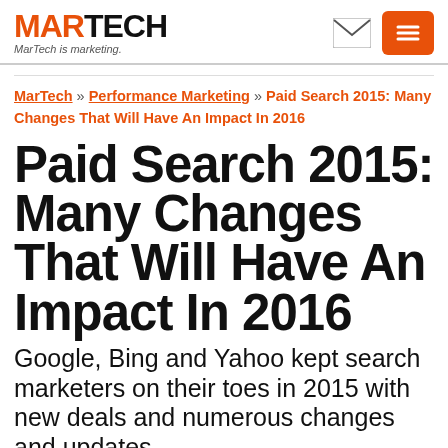MARTECH MarTech is marketing.
MarTech » Performance Marketing » Paid Search 2015: Many Changes That Will Have An Impact In 2016
Paid Search 2015: Many Changes That Will Have An Impact In 2016
Google, Bing and Yahoo kept search marketers on their toes in 2015 with new deals and numerous changes and updates